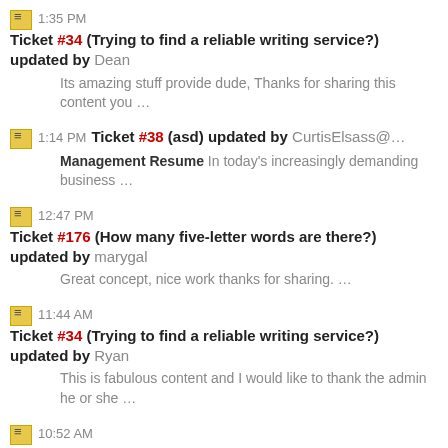1:35 PM Ticket #34 (Trying to find a reliable writing service?) updated by Dean — Its amazing stuff provide dude, Thanks for sharing this content you …
1:14 PM Ticket #38 (asd) updated by CurtisElsass@… — Management Resume In today's increasingly demanding business …
12:47 PM Ticket #176 (How many five-letter words are there?) updated by marygal — Great concept, nice work thanks for sharing. …
11:44 AM Ticket #34 (Trying to find a reliable writing service?) updated by Ryan — This is fabulous content and I would like to thank the admin he or she …
10:52 AM Ticket #6 (hjhgjhg) updated by Massage bangalore — Spas are doing their job with utmost care for the satisfaction of …
10:48 AM Ticket #36 (BUG in VK System) updated by